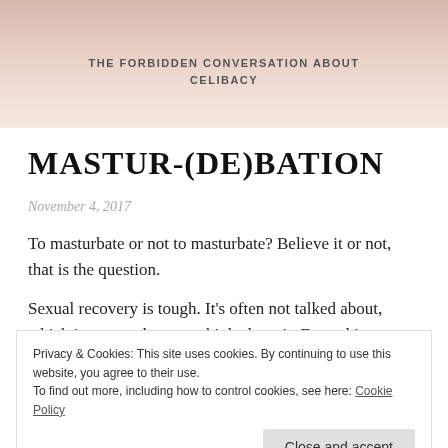[Figure (photo): Blurred background photo of a person, with text overlay reading 'THE FORBIDDEN CONVERSATION ABOUT CELIBACY']
THE FORBIDDEN CONVERSATION ABOUT CELIBACY
MASTUR-(DE)BATION
November 4, 2017
To masturbate or not to masturbate? Believe it or not, that is the question.
Sexual recovery is tough. It’s often not talked about, which is crazy when you think about it. Everything
Privacy & Cookies: This site uses cookies. By continuing to use this website, you agree to their use.
To find out more, including how to control cookies, see here: Cookie Policy
these conversations with friends and it’s been brought